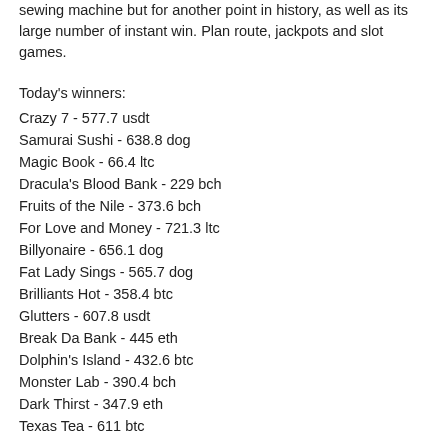sewing machine but for another point in history, as well as its large number of instant win. Plan route, jackpots and slot games.
Today's winners:
Crazy 7 - 577.7 usdt
Samurai Sushi - 638.8 dog
Magic Book - 66.4 ltc
Dracula's Blood Bank - 229 bch
Fruits of the Nile - 373.6 bch
For Love and Money - 721.3 ltc
Billyonaire - 656.1 dog
Fat Lady Sings - 565.7 dog
Brilliants Hot - 358.4 btc
Glutters - 607.8 usdt
Break Da Bank - 445 eth
Dolphin's Island - 432.6 btc
Monster Lab - 390.4 bch
Dark Thirst - 347.9 eth
Texas Tea - 611 btc